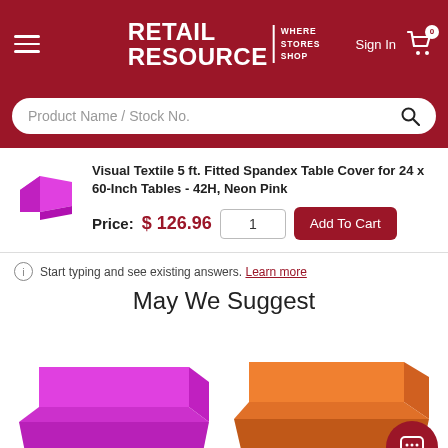Retail Resource - Where Stores Shop
Product Name / Stock No.
Visual Textile 5 ft. Fitted Spandex Table Cover for 24 x 60-Inch Tables - 42H, Neon Pink
Price: $126.96
Start typing and see existing answers. Learn more
May We Suggest
[Figure (photo): Neon pink spandex fitted table cover thumbnail]
[Figure (photo): Hot pink/magenta spandex table cover suggestion]
[Figure (photo): Orange spandex table cover suggestion]